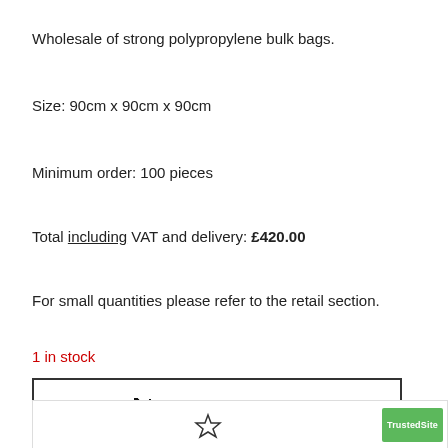Wholesale of strong polypropylene bulk bags.
Size: 90cm x 90cm x 90cm
Minimum order: 100 pieces
Total including VAT and delivery: £420.00
For small quantities please refer to the retail section.
1 in stock
[Figure (other): Add to Basket button with cart icon]
[Figure (other): Trusted Site badge bar at bottom with star icon]